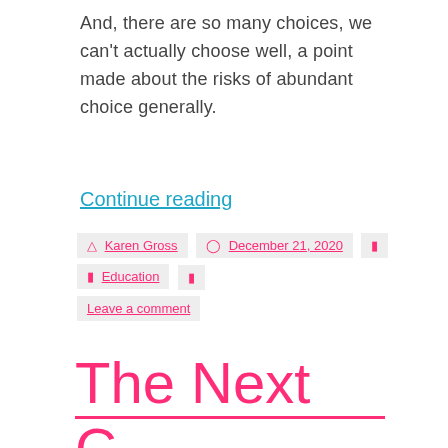And, there are so many choices, we can't actually choose well, a point made about the risks of abundant choice generally.
Continue reading
Karen Gross   December 21, 2020   Education   Leave a comment
The Next